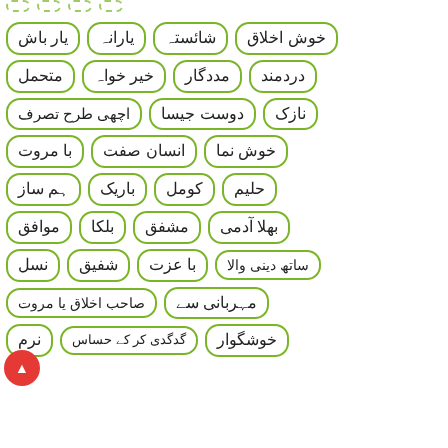خوش اخلاق
شائستہ
یارانہ
یار باش
دردمند
مددگار
خیر خواہ
متحمل
نازک
دوست جیسا
اچھی طرح تصرف
خوش نما
انسان صفت
با مروت
حلیم
کومل
باریک
ہم ساز
بھلا آدمی
مشفق
بلکا
موافق
ساتھ دینی والا
با عزت
شفیق
نسل
مہربانی سے
صاحب اخلاق یا مروت
خوشگوار
گدگدی کر کے حساس
نرم